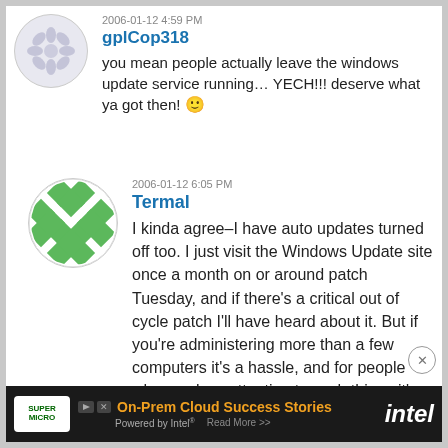2006-01-12 4:59 PM
gplCop318
you mean people actually leave the windows update service running… YECH!!! deserve what ya got then! 🙂
2006-01-12 6:05 PM
Termal
I kinda agree–I have auto updates turned off too. I just visit the Windows Update site once a month on or around patch Tuesday, and if there's a critical out of cycle patch I'll have heard about it. But if you're administering more than a few computers it's a hassle, and for people who pay less attention to such things it's easier to just let auto
[Figure (infographic): Advertisement banner: Supermicro logo, On-Prem Cloud Success Stories Powered by Intel, Read More, Intel logo]